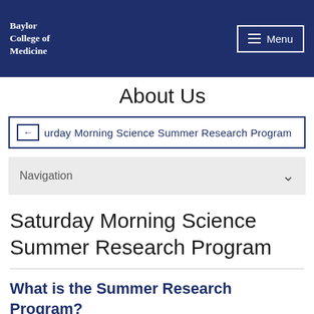Baylor College of Medicine
About Us
Saturday Morning Science Summer Research Program
Navigation
Saturday Morning Science Summer Research Program
What is the Summer Research Program?
The Saturday Morning Science Summer Research